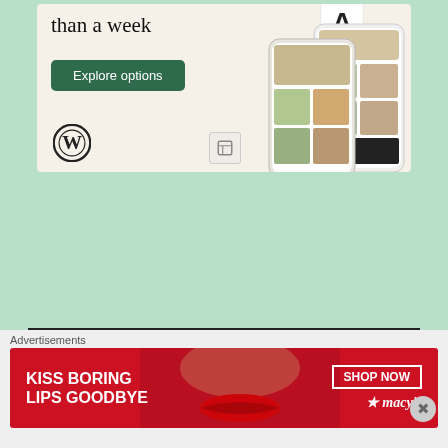[Figure (screenshot): WordPress website builder advertisement with 'than a week' headline, 'Explore options' green button, WordPress logo, and phone mockups showing restaurant website themes]
TOP POSTS & PAGES
Holy Rosary Malayalam / Japamala ജപമാലസ്തോത്രങ്ങൾ ജപിക്കു / ജപിക്കൽ
Novena to Velankanni Matha in Hindi
Nithyasahaya Mathavinte Novena /
[Figure (photo): Thumbnail image of religious post - book with Marian apparition illustration]
Advertisements
[Figure (advertisement): Macy's advertisement: KISS BORING LIPS GOODBYE with SHOP NOW button and red background, woman with red lips visible]